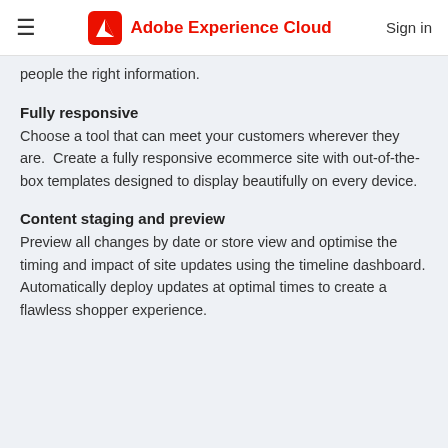Adobe Experience Cloud  Sign in
people the right information.
Fully responsive
Choose a tool that can meet your customers wherever they are.  Create a fully responsive ecommerce site with out-of-the-box templates designed to display beautifully on every device.
Content staging and preview
Preview all changes by date or store view and optimise the timing and impact of site updates using the timeline dashboard. Automatically deploy updates at optimal times to create a flawless shopper experience.